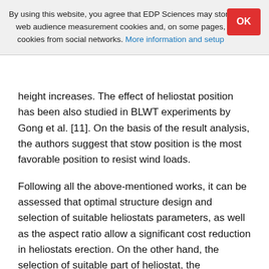By using this website, you agree that EDP Sciences may store web audience measurement cookies and, on some pages, cookies from social networks. More information and setup
height increases. The effect of heliostat position has been also studied in BLWT experiments by Gong et al. [11]. On the basis of the result analysis, the authors suggest that stow position is the most favorable position to resist wind loads.
Following all the above-mentioned works, it can be assessed that optimal structure design and selection of suitable heliostats parameters, as well as the aspect ratio allow a significant cost reduction in heliostats erection. On the other hand, the selection of suitable part of heliostat, the dimensions and the amount of material used for different parts of the heliostat have significant impacts, regarding the wind loads. Within this frame, the contribution of this work consists in experimental investigation of the impact of the heliostat mirror shapes (square, octagonal and circular) on